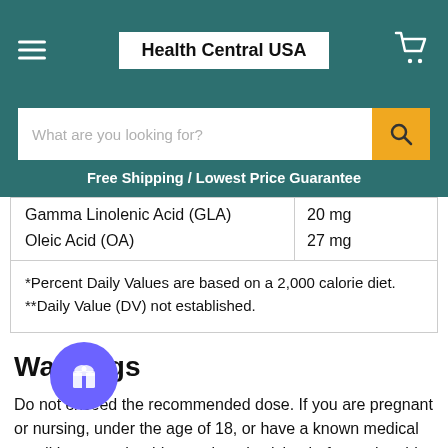Health Central USA
| Ingredient | Amount |
| --- | --- |
| Gamma Linolenic Acid (GLA) | 20 mg |
| Oleic Acid (OA) | 27 mg |
*Percent Daily Values are based on a 2,000 calorie diet.
**Daily Value (DV) not established.
Warnings
Do not exceed the recommended dose. If you are pregnant or nursing, under the age of 18, or have a known medical condition, you should consult a physician before using this or